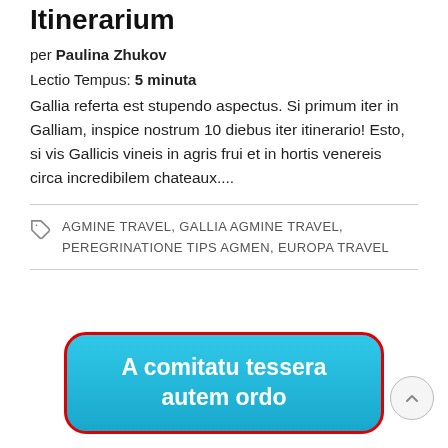Itinerarium
per Paulina Zhukov
Lectio Tempus: 5 minuta
Gallia referta est stupendo aspectus. Si primum iter in Galliam, inspice nostrum 10 diebus iter itinerario! Esto, si vis Gallicis vineis in agris frui et in hortis venereis circa incredibilem chateaux....
AGMINE TRAVEL, GALLIA AGMINE TRAVEL, PEREGRINATIONE TIPS AGMEN, EUROPA TRAVEL
A comitatu tessera autem ordo